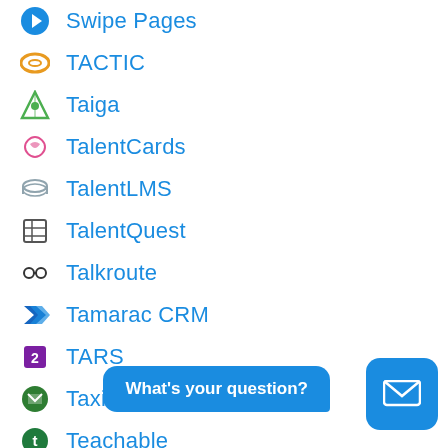Swipe Pages
TACTIC
Taiga
TalentCards
TalentLMS
TalentQuest
Talkroute
Tamarac CRM
TARS
Taximail
Teachable
Teachery
What's your question?